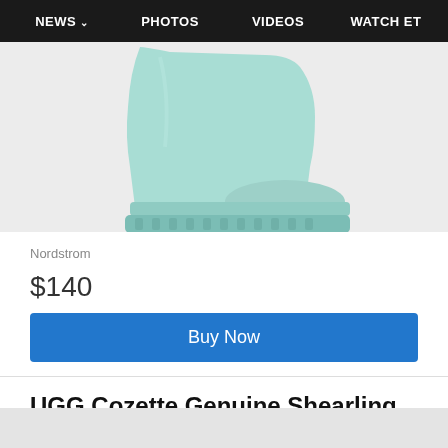NEWS  PHOTOS  VIDEOS  WATCH ET
[Figure (photo): A light mint/aqua colored UGG boot shown from the side, cropped at top of boot, showing the lower portion and sole against a light gray background.]
Nordstrom
$140
Buy Now
UGG Cozette Genuine Shearling Slipper